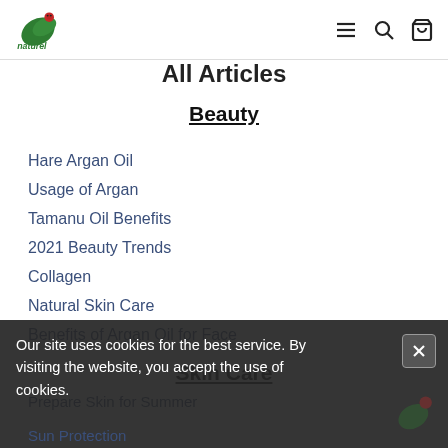naturel (logo) with navigation icons
All Articles
Beauty
Hare Argan Oil
Usage of Argan
Tamanu Oil Benefits
2021 Beauty Trends
Collagen
Natural Skin Care
Benefits of Argan Oil for Face
Skin Care
Prepare Skin for Summer
Our site uses cookies for the best service. By visiting the website, you accept the use of cookies.
Sun Protection